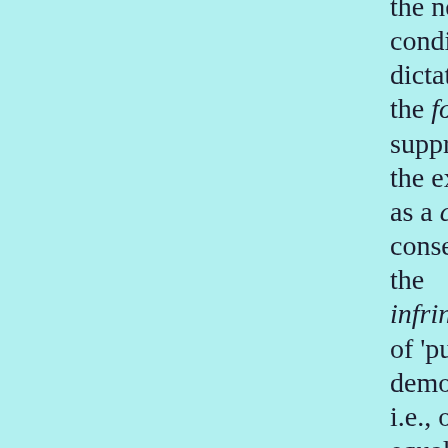the necessary condition of dictatorship is the forcible suppression of the exploiters as a class, and, consequently, the infringement of 'pure democracy', i.e., of equality and freedom, in regard to that class." — Lenin, "Proletarian Revolution and the Renegade Kautsky" (Oct.-Nov. 1918), LCW 28:256